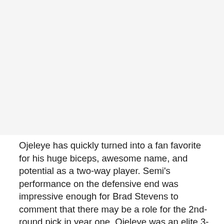[Figure (photo): Photograph of a basketball player, likely Semi Ojeleye]
Ojeleye has quickly turned into a fan favorite for his huge biceps, awesome name, and potential as a two-way player. Semi's performance on the defensive end was impressive enough for Brad Stevens to comment that there may be a role for the 2nd-round pick in year one. Ojeleye was an elite 3-point shooter in college, averaging 42.4% from three on 4.2 attempts per game